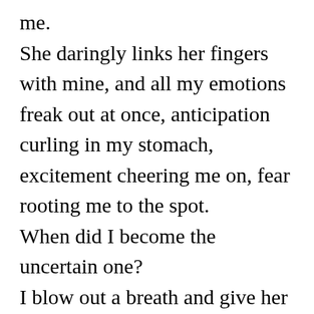me. She daringly links her fingers with mine, and all my emotions freak out at once, anticipation curling in my stomach, excitement cheering me on, fear rooting me to the spot. When did I become the uncertain one? I blow out a breath and give her my patented cool rockstarsmile. “So…”